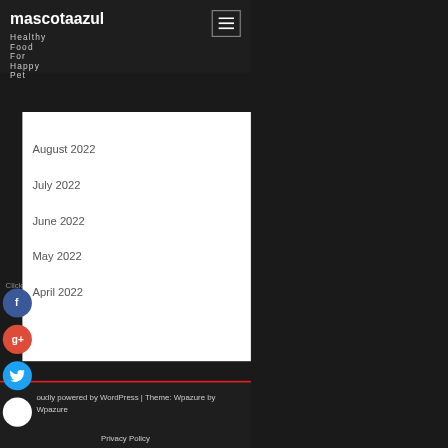mascotaazul — Healthy Food For Happy Pet
Archives
September 2022
August 2022
July 2022
June 2022
Click here to assign a widget.
May 2022
April 2022
Proudly powered by WordPress | Theme: Wpazure by Wpazure
Privacy Policy